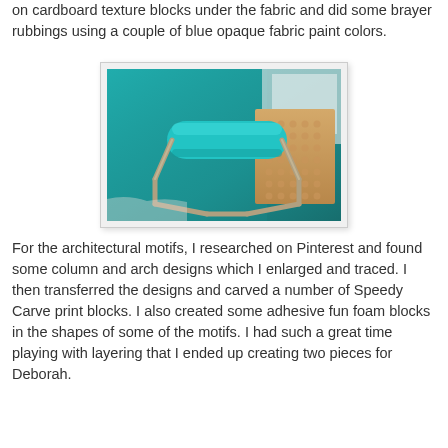on cardboard texture blocks under the fabric and did some brayer rubbings using a couple of blue opaque fabric paint colors.
[Figure (photo): A teal/turquoise paint brayer roller resting on a blue painted surface next to a cardboard texture block with a dot pattern.]
For the architectural motifs, I researched on Pinterest and found some column and arch designs which I enlarged and traced. I then transferred the designs and carved a number of Speedy Carve print blocks. I also created some adhesive fun foam blocks in the shapes of some of the motifs. I had such a great time playing with layering that I ended up creating two pieces for Deborah.